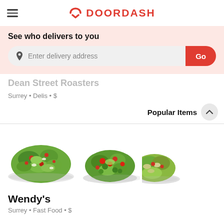DOORDASH
See who delivers to you
Enter delivery address
Go
Dean Street Roasters
Surrey • Delis • $
Popular Items
[Figure (photo): Three salad plates shown side by side: a large green salad on the left, a medium salad with red tomatoes and vegetables in the center, and a partial view of another salad on the right.]
Wendy's
Surrey • Fast Food • $